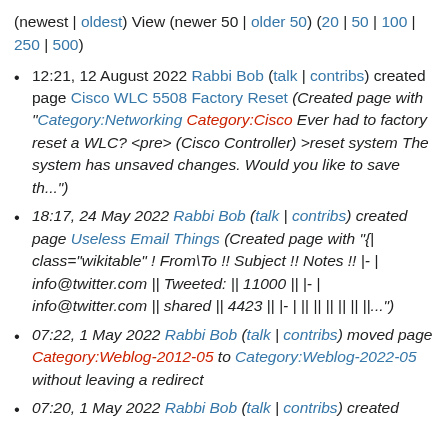(newest | oldest) View (newer 50 | older 50) (20 | 50 | 100 | 250 | 500)
12:21, 12 August 2022 Rabbi Bob (talk | contribs) created page Cisco WLC 5508 Factory Reset (Created page with "Category:Networking Category:Cisco Ever had to factory reset a WLC? <pre> (Cisco Controller) >reset system The system has unsaved changes. Would you like to save th...")
18:17, 24 May 2022 Rabbi Bob (talk | contribs) created page Useless Email Things (Created page with "{| class="wikitable" ! From\To !! Subject !! Notes !! |- | info@twitter.com || Tweeted: || 11000 || |- | info@twitter.com || shared || 4423 || |- | || || || || || ||...")
07:22, 1 May 2022 Rabbi Bob (talk | contribs) moved page Category:Weblog-2012-05 to Category:Weblog-2022-05 without leaving a redirect
07:20, 1 May 2022 Rabbi Bob (talk | contribs) created